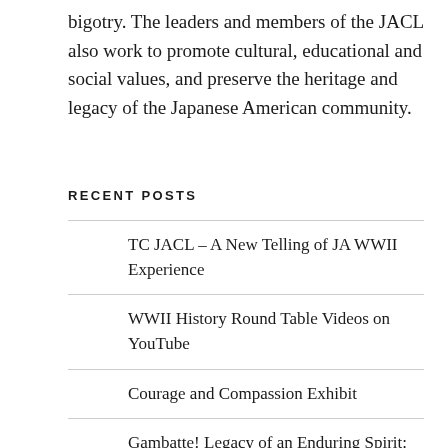bigotry. The leaders and members of the JACL also work to promote cultural, educational and social values, and preserve the heritage and legacy of the Japanese American community.
RECENT POSTS
TC JACL – A New Telling of JA WWII Experience
WWII History Round Table Videos on YouTube
Courage and Compassion Exhibit
Gambatte! Legacy of an Enduring Spirit: Japanese American WWII, Then & Now
KSTP Video on Day of Remembrance